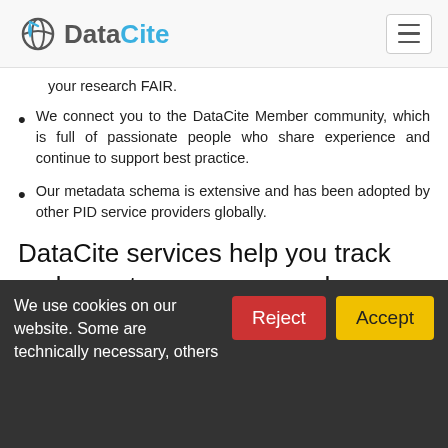DataCite
your research FAIR.
We connect you to the DataCite Member community, which is full of passionate people who share experience and continue to support best practice.
Our metadata schema is extensive and has been adopted by other PID service providers globally.
DataCite services help you track and report on your research.
A DOI enables easy tracking of your research
We use cookies on our website. Some are technically necessary, others